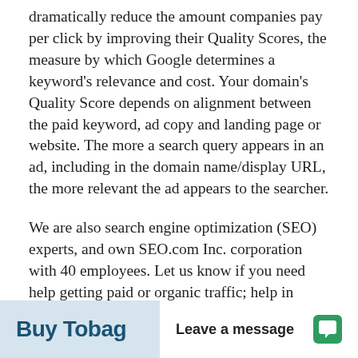dramatically reduce the amount companies pay per click by improving their Quality Scores, the measure by which Google determines a keyword's relevance and cost. Your domain's Quality Score depends on alignment between the paid keyword, ad copy and landing page or website. The more a search query appears in an ad, including in the domain name/display URL, the more relevant the ad appears to the searcher.
We are also search engine optimization (SEO) experts, and own SEO.com Inc. corporation with 40 employees. Let us know if you need help getting paid or organic traffic; help in getting to the top of Google.
Buy Tobag... Leave a message